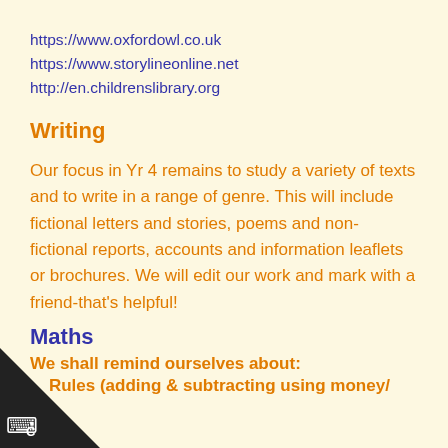https://www.oxfordowl.co.uk
https://www.storylineonline.net
http://en.childrenslibrary.org
Writing
Our focus in Yr 4 remains to study a variety of texts and to write in a range of genre. This will include fictional letters and stories, poems and non- fictional reports, accounts and information leaflets or brochures. We will edit our work and mark with a friend-that's helpful!
Maths
We shall remind ourselves about:
Rules (adding & subtracting using money/